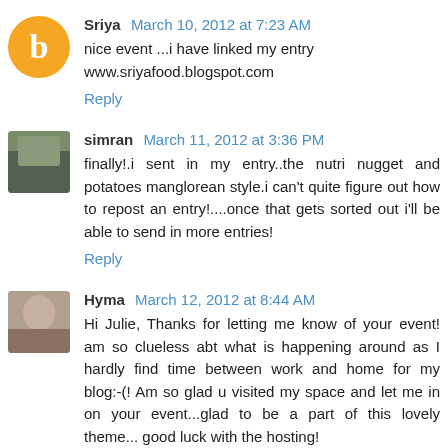Sriya March 10, 2012 at 7:23 AM
nice event ...i have linked my entry www.sriyafood.blogspot.com
Reply
simran March 11, 2012 at 3:36 PM
finally!.i sent in my entry..the nutri nugget and potatoes manglorean style.i can't quite figure out how to repost an entry!....once that gets sorted out i'll be able to send in more entries!
Reply
Hyma March 12, 2012 at 8:44 AM
Hi Julie, Thanks for letting me know of your event! am so clueless abt what is happening around as I hardly find time between work and home for my blog:-(! Am so glad u visited my space and let me in on your event...glad to be a part of this lovely theme... good luck with the hosting!